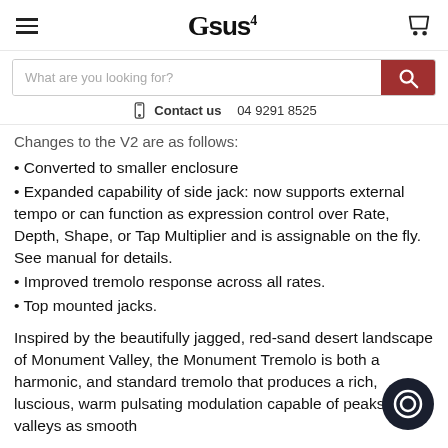Gsus4
What are you looking for?
Contact us  04 9291 8525
Changes to the V2 are as follows:
Converted to smaller enclosure
Expanded capability of side jack: now supports external tempo or can function as expression control over Rate, Depth, Shape, or Tap Multiplier and is assignable on the fly. See manual for details.
Improved tremolo response across all rates.
Top mounted jacks.
Inspired by the beautifully jagged, red-sand desert landscape of Monument Valley, the Monument Tremolo is both a harmonic and standard tremolo that produces a rich, luscious, warm pulsating modulation capable of peaks and valleys as smooth